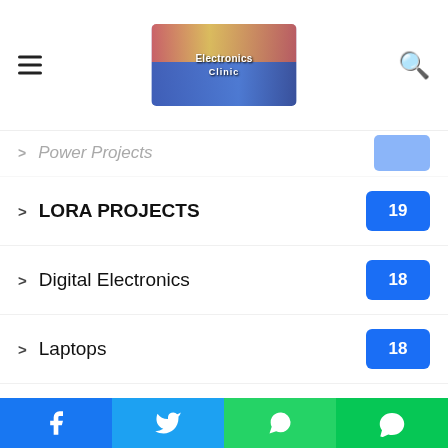Electronics Clinic — navigation header with hamburger menu and search icon
LORA PROJECTS — 19
Digital Electronics — 18
Laptops — 18
Electronics — 17
Java Programming — 16
Matlab — 16
RC Planes & Quadcopters — 16
Raspberry Pi Pico — 16
JavaScript — (partially visible)
C sharp C# — (partially visible)
Social share bar: Facebook, Twitter, WhatsApp, Line